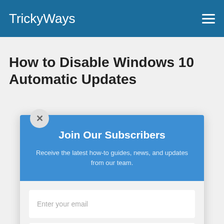TrickyWays
How to Disable Windows 10 Automatic Updates
[Figure (screenshot): Subscriber popup modal with blue header section reading 'Join Our Subscribers', subtitle 'Receive the latest how-to guides, news, and updates from our team.', an email input field, and a Subscribe button. A circular close button with X is in the top-left corner of the modal.]